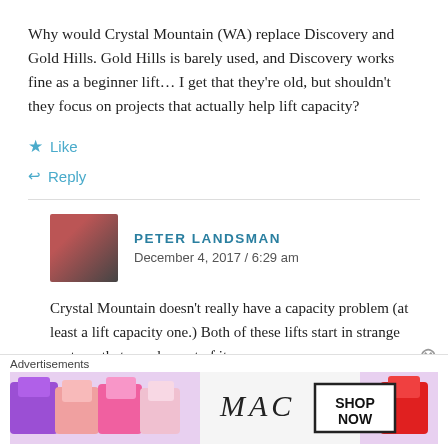Why would Crystal Mountain (WA) replace Discovery and Gold Hills. Gold Hills is barely used, and Discovery works fine as a beginner lift… I get that they're old, but shouldn't they focus on projects that actually help lift capacity?
Like
Reply
PETER LANDSMAN
December 4, 2017 / 6:29 am
Crystal Mountain doesn't really have a capacity problem (at least a lift capacity one.) Both of these lifts start in strange spots so that may be part of it.
Advertisements